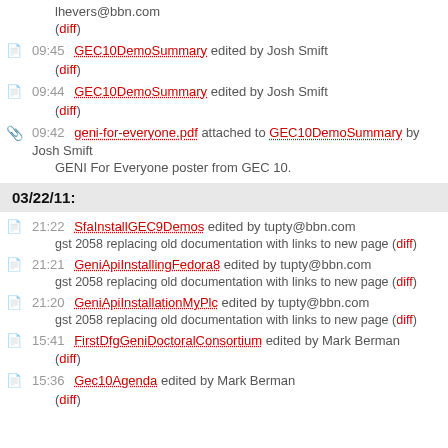lhevers@bbn.com
(diff)
09:45 GEC10DemoSummary edited by Josh Smift
(diff)
09:44 GEC10DemoSummary edited by Josh Smift
(diff)
09:42 geni-for-everyone.pdf attached to GEC10DemoSummary by Josh Smift
GENI For Everyone poster from GEC 10.
03/22/11:
21:22 SfaInstallGEC9Demos edited by tupty@bbn.com
gst 2058 replacing old documentation with links to new page (diff)
21:21 GeniApiInstallingFedora8 edited by tupty@bbn.com
gst 2058 replacing old documentation with links to new page (diff)
21:20 GeniApiInstallationMyPlc edited by tupty@bbn.com
gst 2058 replacing old documentation with links to new page (diff)
15:41 FirstDfgGeniDoctoralConsortium edited by Mark Berman
(diff)
15:36 Gec10Agenda edited by Mark Berman
(diff)